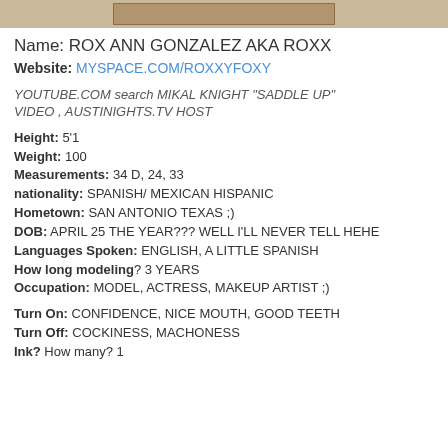[Figure (photo): Partial photo strip at top of page, cropped image of a person]
Name: ROX ANN GONZALEZ AKA ROXX
Website: MYSPACE.COM/ROXXYFOXY
YOUTUBE.COM search MIKAL KNIGHT "SADDLE UP" VIDEO , AUSTINIGHTS.TV HOST
Height: 5'1
Weight: 100
Measurements: 34 D, 24, 33
nationality: SPANISH/ MEXICAN HISPANIC
Hometown: SAN ANTONIO TEXAS ;)
DOB: APRIL 25 THE YEAR??? WELL I'LL NEVER TELL HEHE
Languages Spoken: ENGLISH, A LITTLE SPANISH
How long modeling? 3 YEARS
Occupation: MODEL, ACTRESS, MAKEUP ARTIST ;)
Turn On: CONFIDENCE, NICE MOUTH, GOOD TEETH
Turn Off: COCKINESS, MACHONESS
Ink? How many? 1